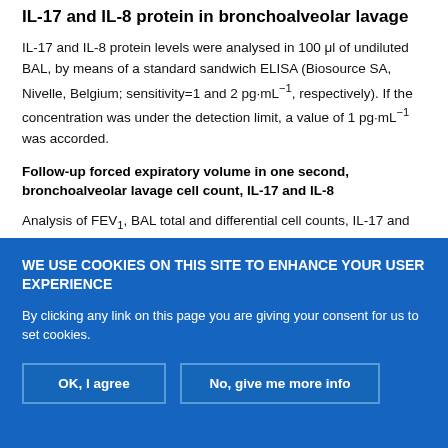IL-17 and IL-8 protein in bronchoalveolar lavage
IL-17 and IL-8 protein levels were analysed in 100 μl of undiluted BAL, by means of a standard sandwich ELISA (Biosource SA, Nivelle, Belgium; sensitivity=1 and 2 pg·mL−1, respectively). If the concentration was under the detection limit, a value of 1 pg·mL−1 was accorded.
Follow-up forced expiratory volume in one second, bronchoalveolar lavage cell count, IL-17 and IL-8
Analysis of FEV1, BAL total and differential cell counts, IL-17 and IL-8 was repeated on day 90, 2 months after the patients with AR had
WE USE COOKIES ON THIS SITE TO ENHANCE YOUR USER EXPERIENCE
By clicking any link on this page you are giving your consent for us to set cookies.
OK, I agree
No, give me more info